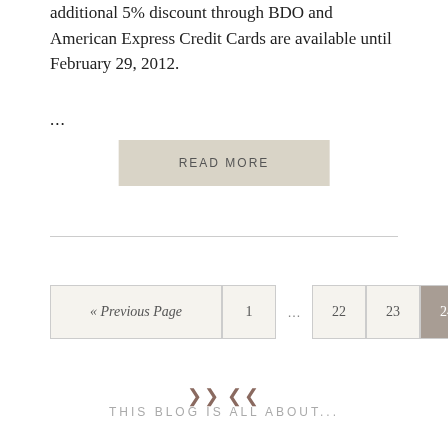additional 5% discount through BDO and American Express Credit Cards are available until February 29, 2012.
...
READ MORE
« Previous Page  1  …  22  23  24
❧❧ THIS BLOG IS ALL ABOUT...
Food. Travel. Bargain finds. Random thoughts. A bright spot for sharing ideas and starting conversations!